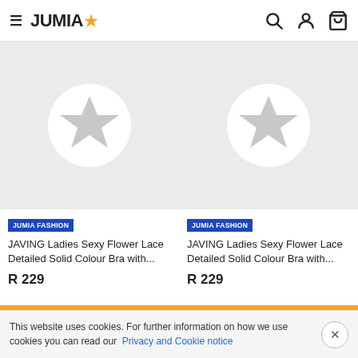JUMIA
[Figure (screenshot): Product image placeholder with Jumia star logo on grey background - left card]
JUMIA FASHION
JAVING Ladies Sexy Flower Lace Detailed Solid Colour Bra with...
R 229
[Figure (screenshot): Product image placeholder with Jumia star logo on grey background - right card]
JUMIA FASHION
JAVING Ladies Sexy Flower Lace Detailed Solid Colour Bra with...
R 229
NEWEST ARRIVALS
FILTERS (1)
This website uses cookies. For further information on how we use cookies you can read our Privacy and Cookie notice